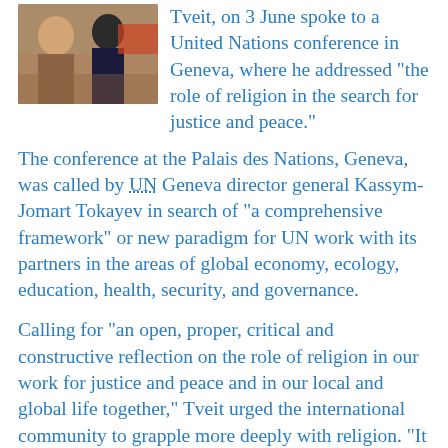[Figure (photo): A photograph showing people at what appears to be a conference or meeting setting.]
Tveit, on 3 June spoke to a United Nations conference in Geneva, where he addressed “the role of religion in the search for justice and peace.”
The conference at the Palais des Nations, Geneva, was called by UN Geneva director general Kassym-Jomart Tokayev in search of “a comprehensive framework” or new paradigm for UN work with its partners in the areas of global economy, ecology, education, health, security, and governance.
Calling for “an open, proper, critical and constructive reflection on the role of religion in our work for justice and peace and in our local and global life together,” Tveit urged the international community to grapple more deeply with religion. “It must go beyond discussions